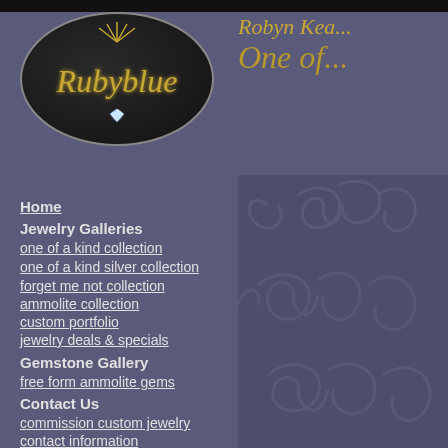[Figure (logo): Rubyblue jewelry logo — black oval with gold script text 'Rubyblue' and a diamond gem graphic]
Robyn Kea... One of...
Home
Jewelry Galleries
one of a kind collection
one of a kind silver collection
forget me not collection
ammolite collection
custom portfolio
jewelry deals & specials
Gemstone Gallery
free form ammolite gems
Contact Us
commission custom jewelry
contact information
rubyblue policies
Jewelry & Gemstone Facts & Curiousities
fine jewelry care
ammolite information